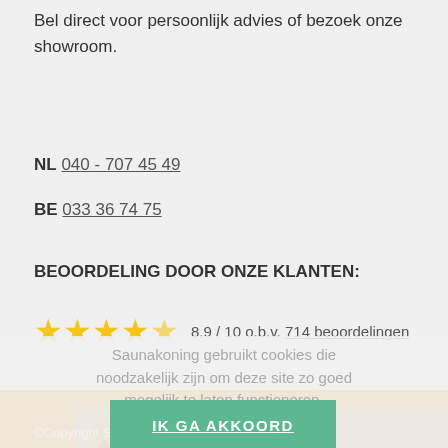Bel direct voor persoonlijk advies of bezoek onze showroom.
NL 040 - 707 45 49
BE 033 36 74 75
BEOORDELING DOOR ONZE KLANTEN:
8,9 / 10 o.b.v. 714 beoordelingen
Saunakoning gebruikt cookies die noodzakelijk zijn om deze site zo goed mogelijk te laten functioneren.
Meer informatie
IK GA AKKOORD
©Copyright Saunakoning.nl